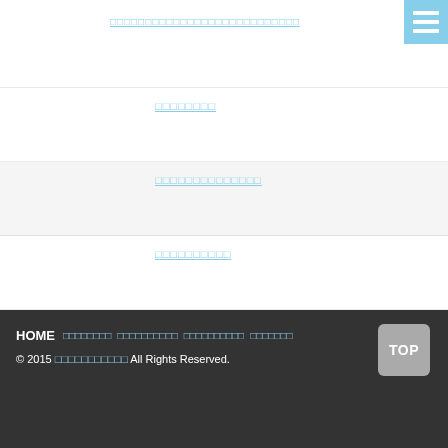□□□□□□□□□□□□□□□□□□□□□□□□□□□
□□□□□□□□
□□□□□□□□□□□□□□
□□□□□□□□□□
HOME □□□□□□□□ □□□□□□□□□□ □□□□□□□□□□ □□□□□□□ © 2015 □□□□□□□□□□□ All Rights Reserved.